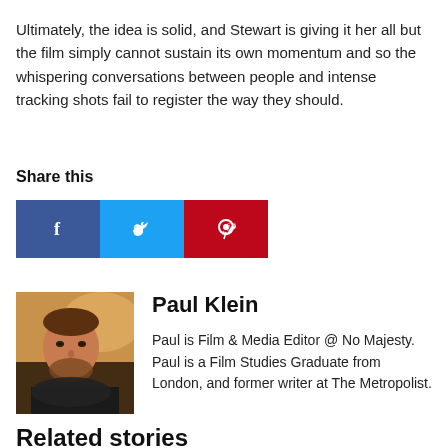Ultimately, the idea is solid, and Stewart is giving it her all but the film simply cannot sustain its own momentum and so the whispering conversations between people and intense tracking shots fail to register the way they should.
Share this
[Figure (infographic): Social share buttons: Facebook (blue), Twitter (cyan), Pinterest (red), each with icon]
[Figure (photo): Headshot of Paul Klein, a man with beard in dark shirt]
Paul Klein
Paul is Film & Media Editor @ No Majesty. Paul is a Film Studies Graduate from London, and former writer at The Metropolist.
Related stories